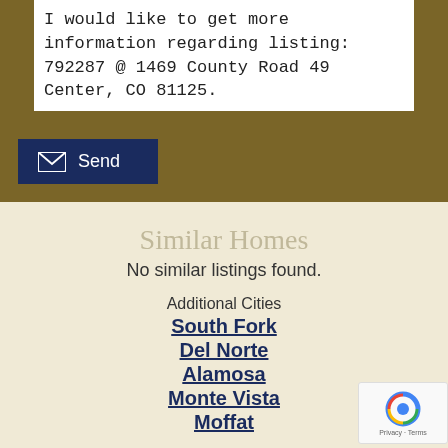I would like to get more information regarding listing: 792287 @ 1469 County Road 49 Center, CO 81125.
[Figure (screenshot): Send button with envelope icon on dark navy background]
Similar Homes
No similar listings found.
Additional Cities
South Fork
Del Norte
Alamosa
Monte Vista
Moffat